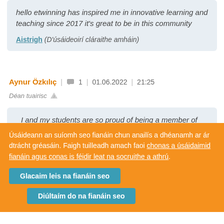hello etwinning has inspired me in innovative learning and teaching since 2017 it's great to be in this community
Aistrigh (D'úsáideoirí cláraithe amháin)
Aynur Özkılıç | 1 | 01.06.2022 | 21:25
Déan tuairisc
I and my students are so proud of being a member of eTwinning as we have a chance to collaborate with our
Úsáideann an suíomh seo fianáin chun anailís a dhéanamh ar ár dtrácht gréasáin. Faigh tuilleadh amach faoi chonas a úsáidaimid fianáin agus conas is féidir leat na socruithe a athrú.
Glacaim leis na fianáin seo
Diúltaím do na fianáin seo